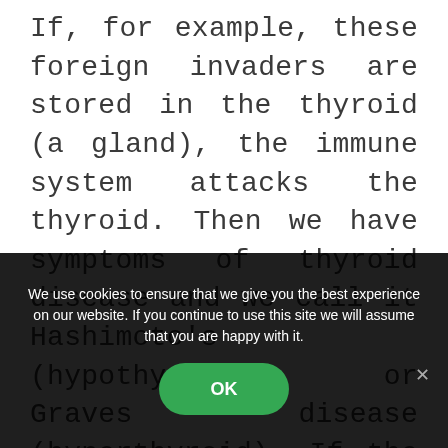If, for example, these foreign invaders are stored in the thyroid (a gland), the immune system attacks the thyroid. Then we have symptoms of thyroid disease and we call it Hashimoto’s (hypothyroid) or Graves disease (hyperthyroid). If the invaders are stored in the fascia (a system of
We use cookies to ensure that we give you the best experience on our website. If you continue to use this site we will assume that you are happy with it.